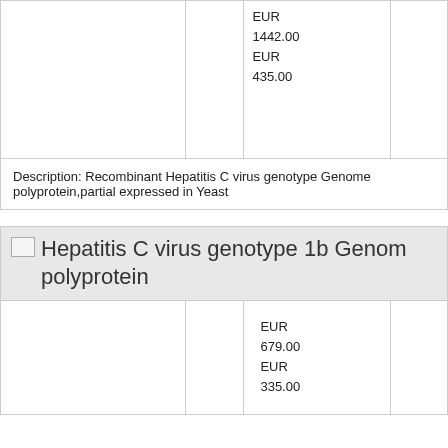|  |  | EUR 1442.00
EUR 435.00 |  |
Description: Recombinant Hepatitis C virus genotype Genome polyprotein,partial expressed in Yeast
Hepatitis C virus genotype 1b Genome polyprotein
|  |  | EUR 679.00
EUR 335.00 |  |